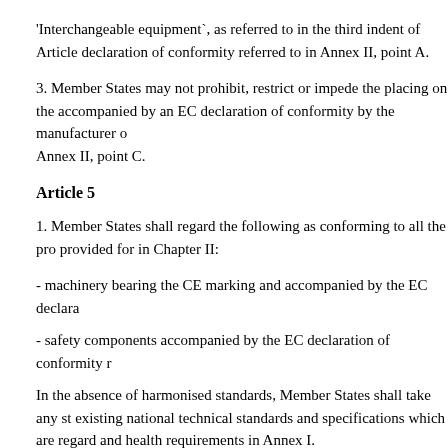'Interchangeable equipment`, as referred to in the third indent of Article declaration of conformity referred to in Annex II, point A.
3. Member States may not prohibit, restrict or impede the placing on the accompanied by an EC declaration of conformity by the manufacturer or Annex II, point C.
Article 5
1. Member States shall regard the following as conforming to all the pro provided for in Chapter II:
- machinery bearing the CE marking and accompanied by the EC declara
- safety components accompanied by the EC declaration of conformity r
In the absence of harmonised standards, Member States shall take any st existing national technical standards and specifications which are regard and health requirements in Annex I.
2. Where a national standard transposing a harmonised standard, the ref